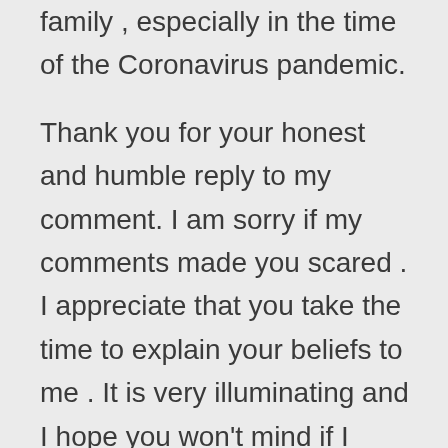family , especially in the time of the Coronavirus pandemic.
Thank you for your honest and humble reply to my comment. I am sorry if my comments made you scared . I appreciate that you take the time to explain your beliefs to me . It is very illuminating and I hope you won't mind if I comment on